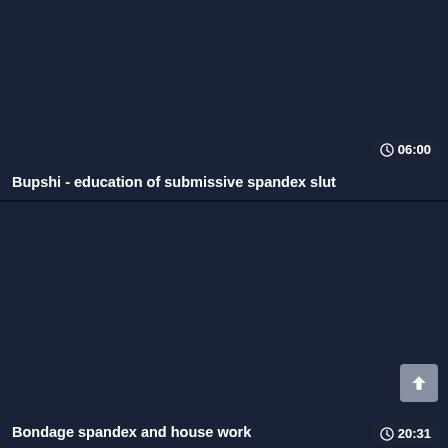[Figure (screenshot): Dark-themed video thumbnail card with duration badge showing 06:00]
Bupshi - education of submissive spandex slut
[Figure (screenshot): Dark-themed video thumbnail card with duration badge showing 20:31 and scroll-to-top button]
Bondage spandex and house work